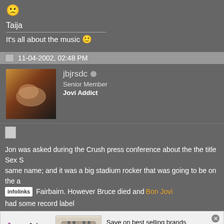[Figure (other): Sad face emoji icon at top]
Taija
It's all about the music 🙂
11-04-2002, 02:48 PM
[Figure (photo): User avatar photo of jbjrsdc]
jbjrsdc
Senior Member
Jovi Addict
Jon was asked during the Crush press conference about the the title Sex S... same name; and it was a big stadium rocker that was going to be on the a... airbairn. However Bruce died and Bon Jovi had some record label...
[Figure (infographic): Wayfair advertisement: Top Appliances Low Prices, Save on best selling brands that live up to the hype, Shop now button]